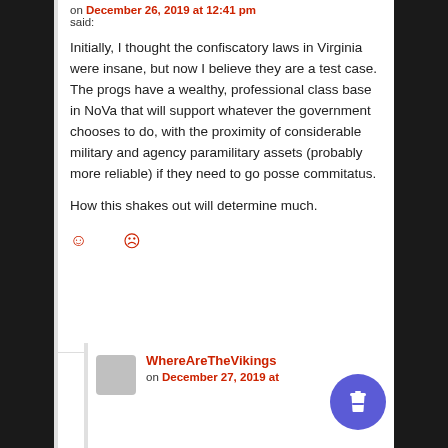on December 26, 2019 at 12:41 pm said:
Initially, I thought the confiscatory laws in Virginia were insane, but now I believe they are a test case. The progs have a wealthy, professional class base in NoVa that will support whatever the government chooses to do, with the proximity of considerable military and agency paramilitary assets (probably more reliable) if they need to go posse commitatus.
How this shakes out will determine much.
☺ ☹
WhereAreTheVikings on December 27, 2019 at